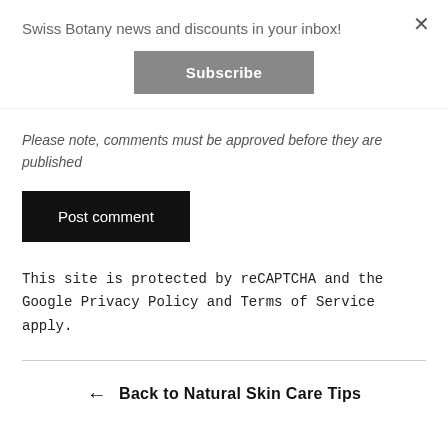Swiss Botany news and discounts in your inbox!
Subscribe
Please note, comments must be approved before they are published
Post comment
This site is protected by reCAPTCHA and the Google Privacy Policy and Terms of Service apply.
← Back to Natural Skin Care Tips